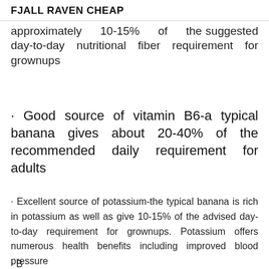FJALL RAVEN CHEAP
approximately 10-15% of the suggested day-to-day nutritional fiber requirement for grownups
· Good source of vitamin B6-a typical banana gives about 20-40% of the recommended daily requirement for adults
· Excellent source of potassium-the typical banana is rich in potassium as well as give 10-15% of the advised day-to-day requirement for grownups. Potassium offers numerous health benefits including improved blood pressure
· B...